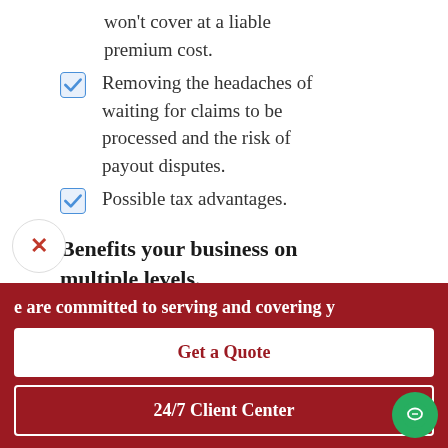won't cover at a liable premium cost.
Removing the headaches of waiting for claims to be processed and the risk of payout disputes.
Possible tax advantages.
Benefits your business on multiple levels.
Legally, the business itself will own and
e are committed to serving and covering y
Get a Quote
24/7 Client Center